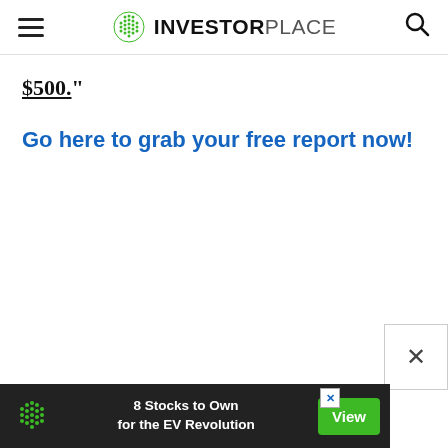INVESTORPLACE
$500.”
Go here to grab your free report now!
[Figure (other): Advertisement banner: 8 Stocks to Own for the EV Revolution, with green View button and InvestorPlace logo, on dark background]